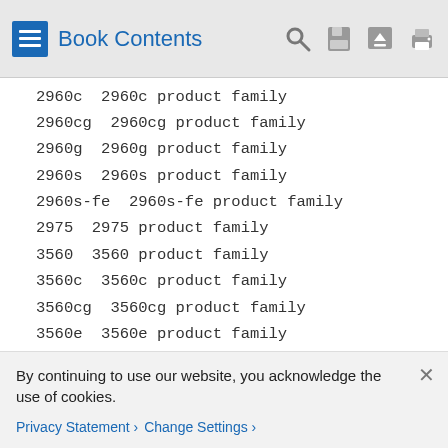Book Contents
2960c  2960c product family
2960cg  2960cg product family
2960g  2960g product family
2960s  2960s product family
2960s-fe  2960s-fe product family
2975  2975 product family
3560  3560 product family
3560c  3560c product family
3560cg  3560cg product family
3560e  3560e product family
3560g  3560g product family
3560x  3560x product family
3750  3750 product family
3750e  3750e product family
3750g  3750g product family
By continuing to use our website, you acknowledge the use of cookies.
Privacy Statement > Change Settings >